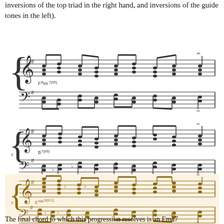inversions of the top triad in the right hand, and inversions of the guide tones in the left).
[Figure (illustration): Music score system 1: treble and bass clef staves with key signature of one sharp, showing chord voicings with label F#mi7(b5)]
[Figure (illustration): Music score system 2: treble and bass clef staves with key signature of one sharp, showing chord voicings with label B7(b9) with flat accidentals]
[Figure (illustration): Music score system 3 (highlighted in tan/cream background): treble and bass clef staves with key signature of one sharp, showing chord voicings with label Ema9(#11)]
The final chord to which this progression resolves is an Ema7